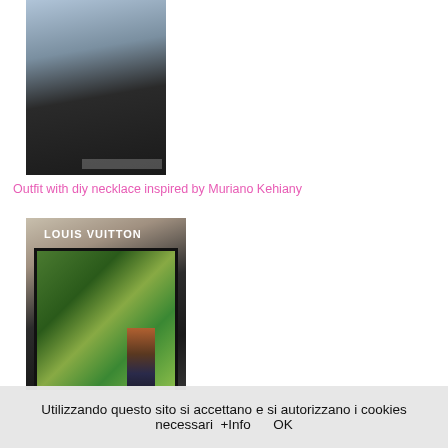[Figure (photo): Photo of a woman in a black outfit showing a DIY necklace]
Outfit with diy necklace inspired by Muriano Kehiany
[Figure (photo): Photo in front of Louis Vuitton store with a person standing beside the display window showing tropical scenery]
Jazz performance ...how has my new necklace made?
[Figure (photo): Partial photo at bottom of page, dark interior scene]
Utilizzando questo sito si accettano e si autorizzano i cookies necessari  +Info      OK